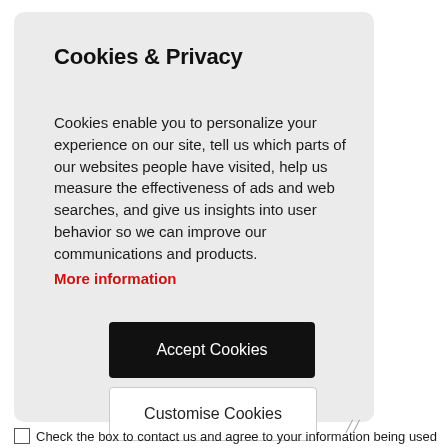Cookies & Privacy
Cookies enable you to personalize your experience on our site, tell us which parts of our websites people have visited, help us measure the effectiveness of ads and web searches, and give us insights into user behavior so we can improve our communications and products.
More information
Accept Cookies
Customise Cookies
Check the box to contact us and agree to your information being used